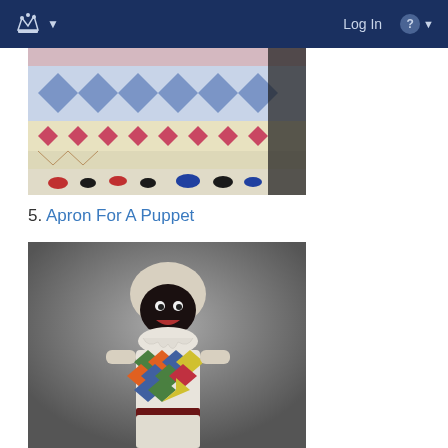Log In
[Figure (photo): Close-up of a colorful textile/apron with embroidered patterns in blue, magenta/pink, and yellow on a cream background, with decorative beaded items along the bottom edge]
5. Apron For A Puppet
[Figure (photo): A puppet figure wearing a harlequin-patterned costume with colorful diamond shapes in green, blue, and orange on white, with a dark face mask, white ruffled collar, and dark belt]